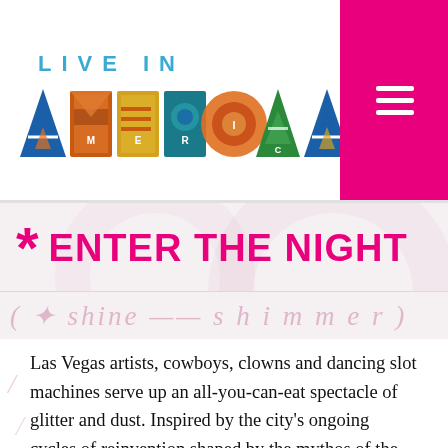[Figure (logo): Live in America logo with stylized colorful letter tiles spelling AMERICA, with LIVE IN text above in teal]
ENTER THE NIGHT
Las Vegas artists, cowboys, clowns and dancing slot machines serve up an all-you-can-eat spectacle of glitter and dust. Inspired by the city's ongoing cycles of reinvention shaped by the mythos of the American West, Vegas artists push back against romanticized notions of the “heroes” of Western expansion–frontiersmen, prospectors, and casino magnates–to share stories